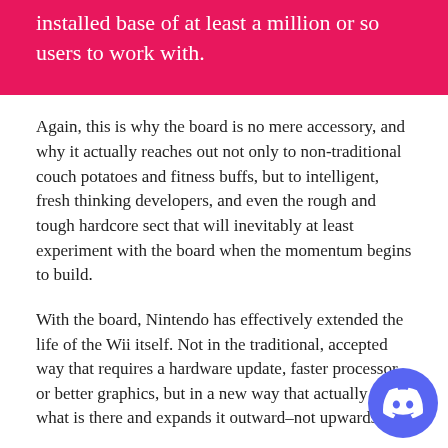installed base of at least a million or so users to work with.
Again, this is why the board is no mere accessory, and why it actually reaches out not only to non-traditional couch potatoes and fitness buffs, but to intelligent, fresh thinking developers, and even the rough and tough hardcore sect that will inevitably at least experiment with the board when the momentum begins to build.
With the board, Nintendo has effectively extended the life of the Wii itself. Not in the traditional, accepted way that requires a hardware update, faster processor or better graphics, but in a new way that actually takes what is there and expands it outward–not upwards.
This is the third time around the gimmick assaults and dismissive tone towards a Nintendo product have been leveled. You would think people would have learned by now.
[Figure (logo): Discord logo button — circular blue button with white Discord logo]